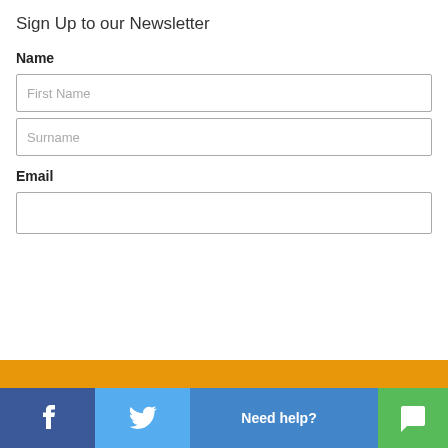Sign Up to our Newsletter
Name
First Name
Surname
Email
Facebook | Twitter | Need help? | Chat